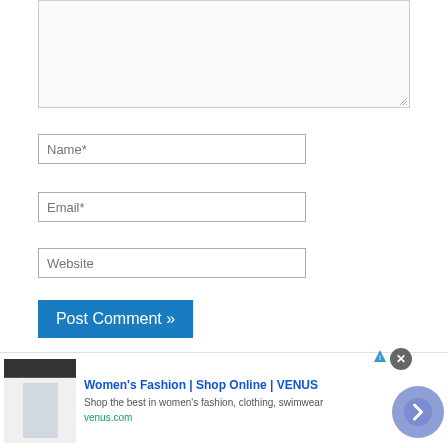[Figure (screenshot): A web form showing a comment textarea (partially visible, light gray background), followed by Name*, Email*, and Website input fields, and a blue 'Post Comment »' button. Below is an advertisement banner for Women's Fashion | Shop Online | VENUS with a close button and navigation arrow.]